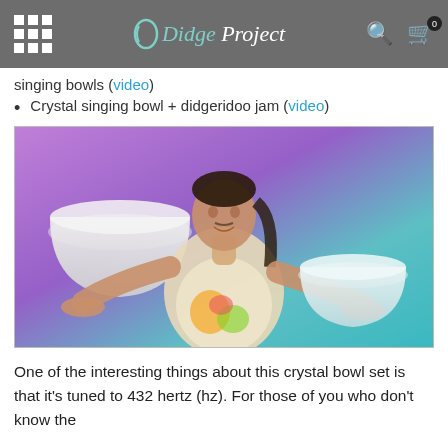Didge Project
singing bowls (video)
Crystal singing bowl + didgeridoo jam (video)
[Figure (photo): Man holding two large white crystal singing bowls, one in each hand, against a purple and teal gradient background, wearing a colorful graphic t-shirt]
One of the interesting things about this crystal bowl set is that it's tuned to 432 hertz (hz). For those of you who don't know the